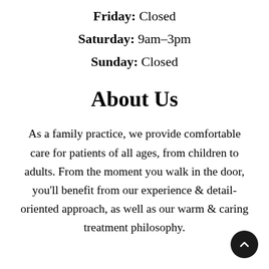Friday: Closed
Saturday: 9am-3pm
Sunday: Closed
About Us
As a family practice, we provide comfortable care for patients of all ages, from children to adults. From the moment you walk in the door, you'll benefit from our experience & detail-oriented approach, as well as our warm & caring treatment philosophy.